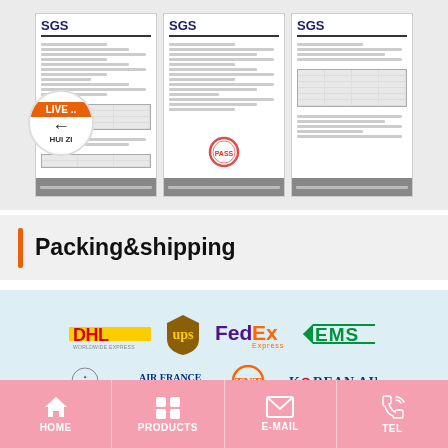[Figure (photo): Three SGS certification documents displayed side by side with a live chat avatar overlay on the left document]
Packing&shipping
[Figure (illustration): Shipping carrier logos: DHL, UPS, FedEx, EMS (top row), Accor, Air France, TNT, Korean Air (bottom row)]
[Figure (infographic): Bottom navigation bar with HOME, PRODUCTS, E-MAIL, TEL icons on pink background]